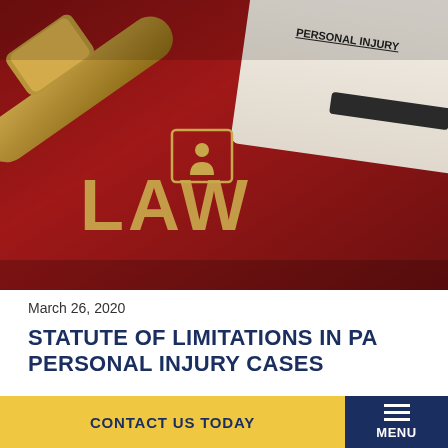[Figure (photo): Photo of a red law book with gold 'LAW' lettering and a personal injury scroll document, with a wooden gavel in the background]
March 26, 2020
STATUTE OF LIMITATIONS IN PA PERSONAL INJURY CASES
When a person is injured as a result of the